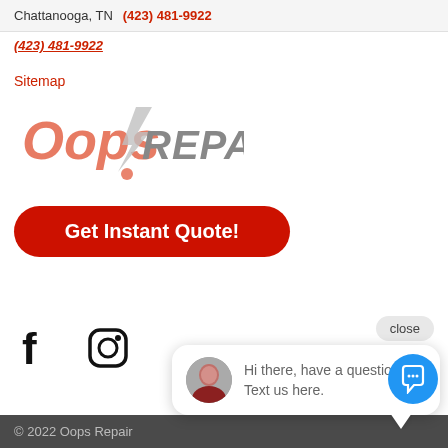Chattanooga, TN  (423) 481-9922
(423) 481-9922
Sitemap
[Figure (logo): Oops Repair logo — stylized text with red/orange 'Oops' and gray 'REPAIR' lettering]
Get Instant Quote!
close
[Figure (infographic): Social media icons: Facebook and Instagram]
Hi there, have a question? Text us here.
© 2022 Oops Repair